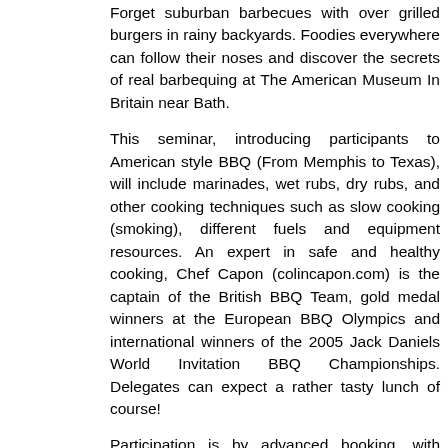Forget suburban barbecues with over grilled burgers in rainy backyards. Foodies everywhere can follow their noses and discover the secrets of real barbequing at The American Museum In Britain near Bath.
This seminar, introducing participants to American style BBQ (From Memphis to Texas), will include marinades, wet rubs, dry rubs, and other cooking techniques such as slow cooking (smoking), different fuels and equipment resources. An expert in safe and healthy cooking, Chef Capon (colincapon.com) is the captain of the British BBQ Team, gold medal winners at the European BBQ Olympics and international winners of the 2005 Jack Daniels World Invitation BBQ Championships. Delegates can expect a rather tasty lunch of course!
Participation is by advanced booking, with Lynne Erskine on 01225 823014. The seminar costs £75
About the American Museum in Britain
The American Museum in Britain (americanmuseum.org) is situated at Claverton